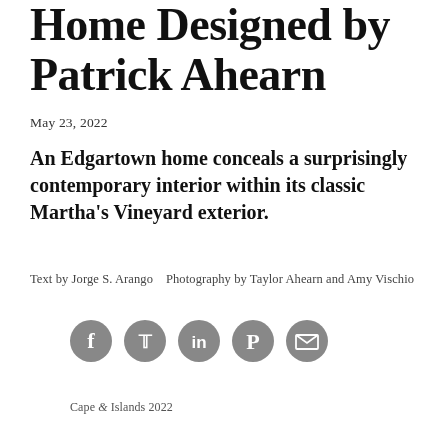Home Designed by Patrick Ahearn
May 23, 2022
An Edgartown home conceals a surprisingly contemporary interior within its classic Martha's Vineyard exterior.
Text by Jorge S. Arango   Photography by Taylor Ahearn and Amy Vischio
[Figure (infographic): Row of five circular social media share icons: Facebook, Twitter, LinkedIn, Pinterest, Email]
Cape & Islands 2022